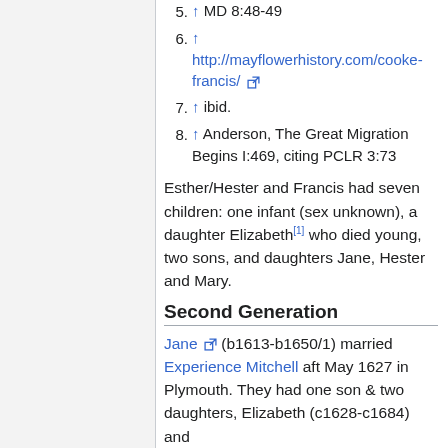5. ↑ MD 8:48-49
6. ↑ http://mayflowerhistory.com/cooke-francis/
7. ↑ ibid.
8. ↑ Anderson, The Great Migration Begins I:469, citing PCLR 3:73
Esther/Hester and Francis had seven children: one infant (sex unknown), a daughter Elizabeth[1] who died young, two sons, and daughters Jane, Hester and Mary.
Second Generation
Jane (b1613-b1650/1) married Experience Mitchell aft May 1627 in Plymouth. They had one son & two daughters, Elizabeth (c1628-c1684) and